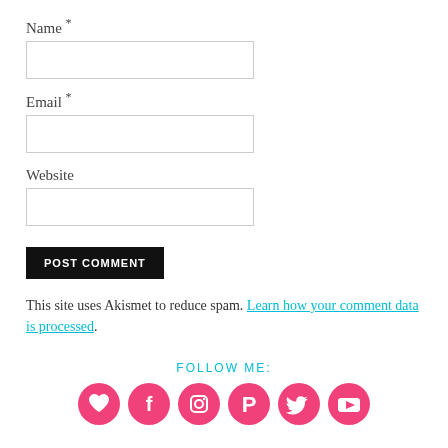Name *
Email *
Website
POST COMMENT
This site uses Akismet to reduce spam. Learn how your comment data is processed.
FOLLOW ME:
[Figure (infographic): Six pink circular social media icons: heart/Bloglovin, Facebook, Instagram, Pinterest, Twitter, YouTube]